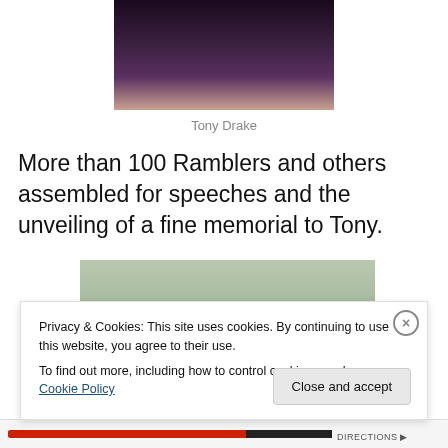[Figure (photo): Partial photo of Tony Drake, cropped showing torso/shoulders]
Tony Drake
More than 100 Ramblers and others assembled for speeches and the unveiling of a fine memorial to Tony.
[Figure (photo): Outdoor group photo of more than 100 people assembled on a green lawn with trees in the background, gathered for a memorial unveiling]
Privacy & Cookies: This site uses cookies. By continuing to use this website, you agree to their use.
To find out more, including how to control cookies, see here: Cookie Policy
Close and accept